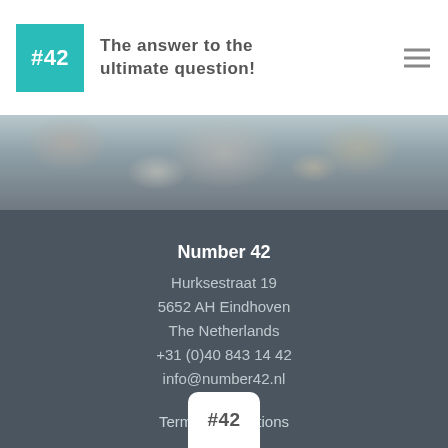#42 – The answer to the ultimate question!
[Figure (photo): Blurred photo of a dining table scene with drinks and food, viewed from above]
Number 42
Hurksestraat 19
5652 AH Eindhoven
The Netherlands
+31 (0)40 843 14 42
info@number42.nl
Terms & Conditions
[Figure (logo): Number 42 logo – white box with #42 text in dark letters]